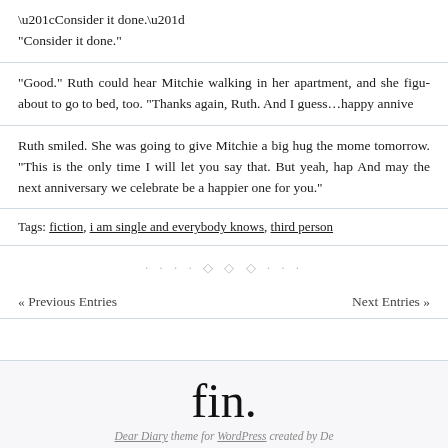“Consider it done.”
“Good.” Ruth could hear Mitchie walking in her apartment, and she figu about to go to bed, too. “Thanks again, Ruth. And I guess…happy annive
Ruth smiled. She was going to give Mitchie a big hug the mome tomorrow. “This is the only time I will let you say that. But yeah, hap And may the next anniversary we celebrate be a happier one for you.”
Tags: fiction, i am single and everybody knows, third person
· · · · ◇ ◇ ◇ · · ·
« Previous Entries   Next Entries »
fin.
Dear Diary theme for WordPress created by De